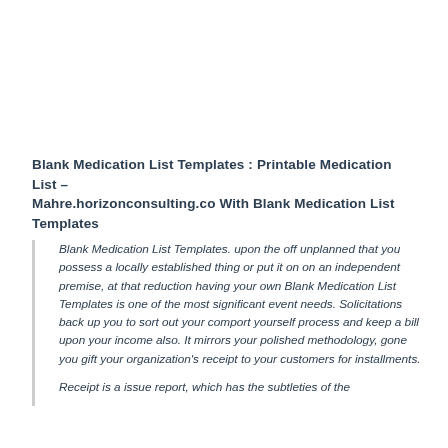Blank Medication List Templates : Printable Medication List – Mahre.horizonconsulting.co With Blank Medication List Templates
Blank Medication List Templates. upon the off unplanned that you possess a locally established thing or put it on on an independent premise, at that reduction having your own Blank Medication List Templates is one of the most significant event needs. Solicitations back up you to sort out your comport yourself process and keep a bill upon your income also. It mirrors your polished methodology, gone you gift your organization's receipt to your customers for installments.
Receipt is a issue report, which has the subtleties of the